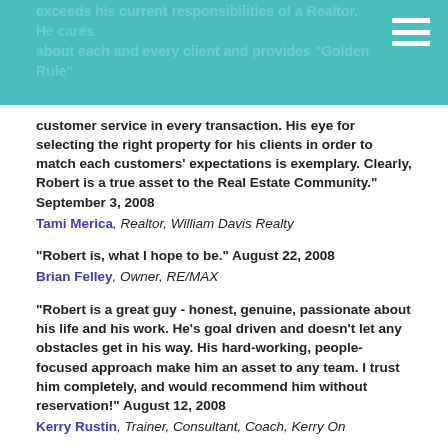exceeds his current responsibilities of a Realtor. He cares about each and every client and provides "Golden Rule" customer service in every transaction. His eye for selecting the right property for his clients in order to match each customers' expectations is exemplary. Clearly, Robert is a true asset to the Real Estate Community." September 3, 2008
Tami Merica, Realtor, William Davis Realty
"Robert is, what I hope to be." August 22, 2008
Brian Felley, Owner, RE/MAX
"Robert is a great guy - honest, genuine, passionate about his life and his work. He's goal driven and doesn't let any obstacles get in his way. His hard-working, people-focused approach make him an asset to any team. I trust him completely, and would recommend him without reservation!" August 12, 2008
Kerry Rustin, Trainer, Consultant, Coach, Kerry On
"Robert is a man with great integrity who puts his all into finding that special piece of real estate. It didn't matter if it